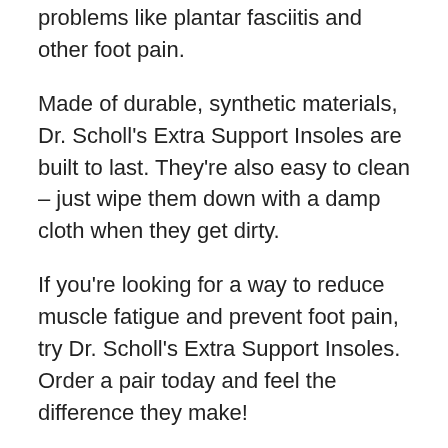problems like plantar fasciitis and other foot pain.
Made of durable, synthetic materials, Dr. Scholl's Extra Support Insoles are built to last. They're also easy to clean – just wipe them down with a damp cloth when they get dirty.
If you're looking for a way to reduce muscle fatigue and prevent foot pain, try Dr. Scholl's Extra Support Insoles. Order a pair today and feel the difference they make!
These insoles did a great job at reducing muscle fatigue in my feet. They have a lot of cushioning and support, which is great for people with big or tall feet. I would definitely recommend these to